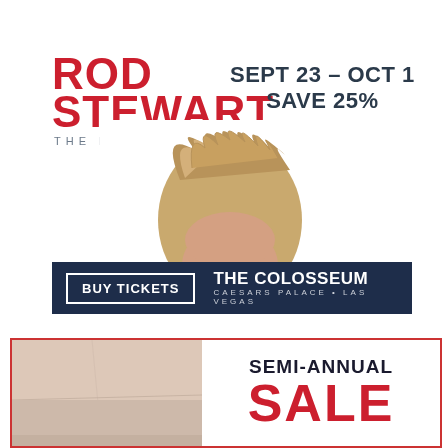[Figure (illustration): Rod Stewart concert advertisement. Shows 'ROD STEWART THE HITS.' logo in red on the left, dates 'SEPT 23 - OCT 1' and 'SAVE 25%' in dark navy on the right, a photo of Rod Stewart with his signature spiky blonde hair peering up from the bottom, and a dark navy bar at the bottom reading 'BUY TICKETS | THE COLOSSEUM CAESARS PALACE • LAS VEGAS'.]
[Figure (illustration): Semi-Annual Sale advertisement. Left side shows a pale pink/beige photo. Right side shows 'SEMI-ANNUAL' in dark text and 'SALE' in large red text, with a red border around the entire ad.]